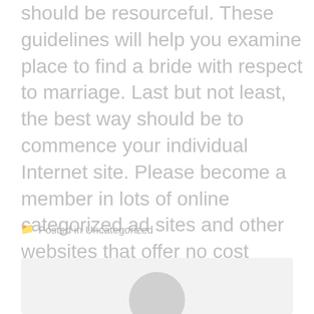should be resourceful. These guidelines will help you examine place to find a bride with respect to marriage. Last but not least, the best way should be to commence your individual Internet site. Please become a member in lots of online categorized ad sites and other websites that offer no cost classifieds.
Posted in Uncategorized
[Figure (photo): Avatar or profile picture placeholder with a grey circle on a light grey background]